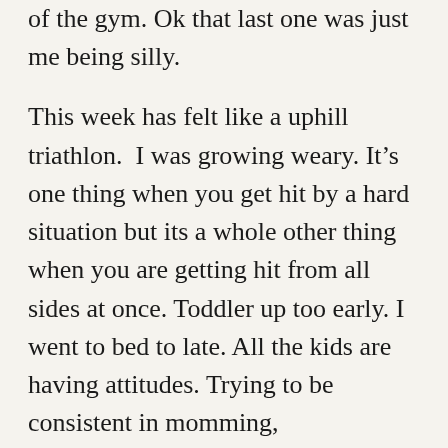of the gym. Ok that last one was just me being silly.
This week has felt like a uphill triathlon.  I was growing weary. It’s one thing when you get hit by a hard situation but its a whole other thing when you are getting hit from all sides at once. Toddler up too early. I went to bed to late. All the kids are having attitudes. Trying to be consistent in momming, homeschooling, book promotion, getting health, and doing that plus having a personal Nehemiah experience.
When our enemies heard that it was known to us and that God had frustrated their plan, we all returned to the wall, each to his work. From that